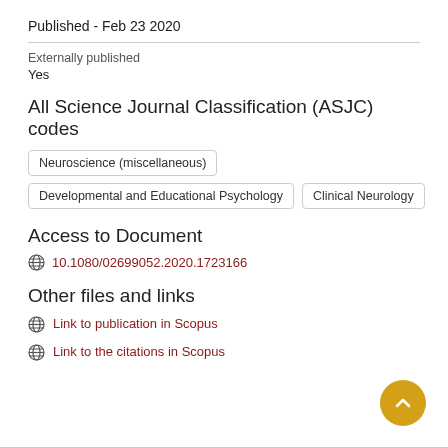Published - Feb 23 2020
Externally published
Yes
All Science Journal Classification (ASJC) codes
Neuroscience (miscellaneous)
Developmental and Educational Psychology
Clinical Neurology
Access to Document
10.1080/02699052.2020.1723166
Other files and links
Link to publication in Scopus
Link to the citations in Scopus